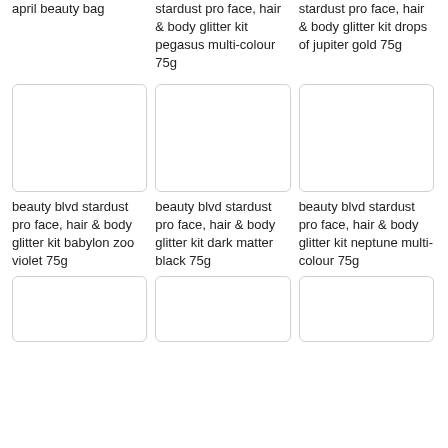april beauty bag
stardust pro face, hair & body glitter kit pegasus multi-colour 75g
stardust pro face, hair & body glitter kit drops of jupiter gold 75g
[Figure (photo): Product image placeholder (white box) for beauty blvd stardust pro face, hair & body glitter kit babylon zoo violet 75g]
beauty blvd stardust pro face, hair & body glitter kit babylon zoo violet 75g
[Figure (photo): Product image placeholder (white box) for beauty blvd stardust pro face, hair & body glitter kit dark matter black 75g]
beauty blvd stardust pro face, hair & body glitter kit dark matter black 75g
[Figure (photo): Product image placeholder (white box) for beauty blvd stardust pro face, hair & body glitter kit neptune multi-colour 75g]
beauty blvd stardust pro face, hair & body glitter kit neptune multi-colour 75g
[Figure (photo): Product image placeholder (white box) - bottom row left]
[Figure (photo): Product image placeholder (white box) - bottom row center]
[Figure (photo): Product image placeholder (white box) - bottom row right]